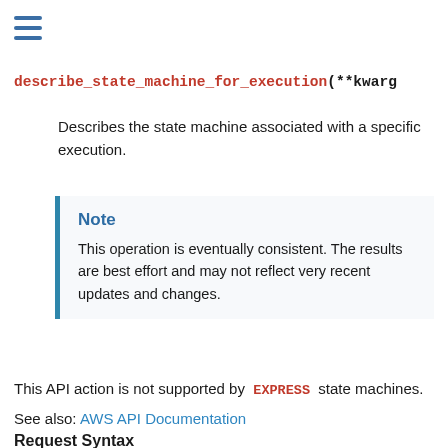[Figure (other): Hamburger menu icon (three horizontal lines)]
describe_state_machine_for_execution (**kwargs)
Describes the state machine associated with a specific execution.
Note
This operation is eventually consistent. The results are best effort and may not reflect very recent updates and changes.
This API action is not supported by EXPRESS state machines.
See also: AWS API Documentation
Request Syntax